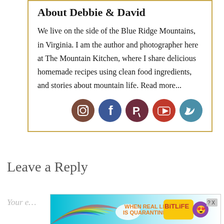About Debbie & David
We live on the side of the Blue Ridge Mountains, in Virginia. I am the author and photographer here at The Mountain Kitchen, where I share delicious homemade recipes using clean food ingredients, and stories about mountain life. Read more...
[Figure (illustration): Row of five social media icon buttons: Instagram (brown), Facebook (blue), Pinterest (dark red/maroon), YouTube (red), Twitter (blue)]
Leave a Reply
[Figure (photo): Advertisement banner: 'When Real Life is Quarantined' BitLife mobile game ad with colorful rainbow, emoji character and star eyes emoji]